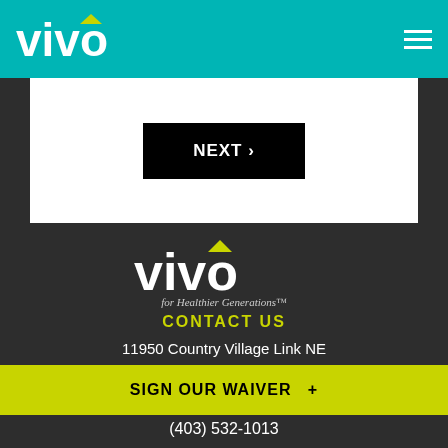[Figure (logo): Vivo logo in teal header bar — white text 'vivo' with yellow-green triangle/play button above the 'i']
[Figure (other): Hamburger menu icon (three white horizontal lines) in top right of teal header]
NEXT >
[Figure (logo): Vivo logo on dark background — white text 'vivo' with yellow-green play triangle, subtitle 'for Healthier Generations']
CONTACT US
11950 Country Village Link NE
SIGN OUR WAIVER  +
(403) 532-1013